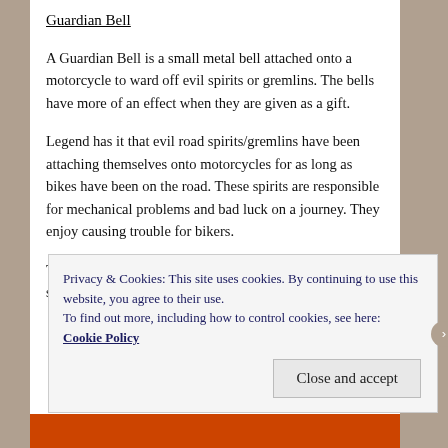Guardian Bell
A Guardian Bell is a small metal bell attached onto a motorcycle to ward off evil spirits or gremlins. The bells have more of an effect when they are given as a gift.
Legend has it that evil road spirits/gremlins have been attaching themselves onto motorcycles for as long as bikes have been on the road. These spirits are responsible for mechanical problems and bad luck on a journey. They enjoy causing trouble for bikers.
To stay safe, all one needs to do is to attach a little bell somewhere on the bike. Legend goes on to say that
Privacy & Cookies: This site uses cookies. By continuing to use this website, you agree to their use.
To find out more, including how to control cookies, see here: Cookie Policy
Close and accept